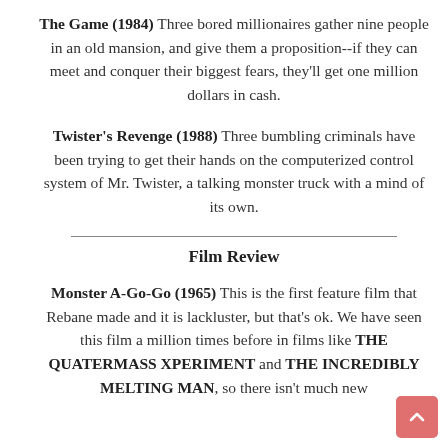The Game (1984) Three bored millionaires gather nine people in an old mansion, and give them a proposition--if they can meet and conquer their biggest fears, they'll get one million dollars in cash.
Twister's Revenge (1988) Three bumbling criminals have been trying to get their hands on the computerized control system of Mr. Twister, a talking monster truck with a mind of its own.
Film Review
Monster A-Go-Go (1965) This is the first feature film that Rebane made and it is lackluster, but that's ok. We have seen this film a million times before in films like THE QUATERMASS XPERIMENT and THE INCREDIBLY MELTING MAN, so there isn't much new